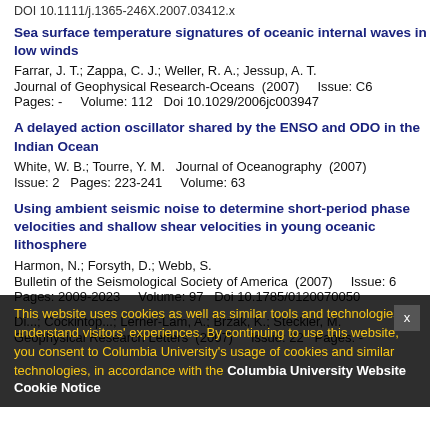DOI 10.1111/j.1365-246X.2007.03412.x
Sea surface temperature signatures of oceanic internal waves in low winds
Farrar, J. T.; Zappa, C. J.; Weller, R. A.; Jessup, A. T.
Journal of Geophysical Research-Oceans  (2007)    Issue: C6
Pages: -    Volume: 112  Doi 10.1029/2006jc003947
A delayed action oscillator shared by the ENSO and ODO in the Indian Ocean
White, W. B.; Tourre, Y. M.  Journal of Oceanography  (2007)
Issue: 2  Pages: 223-241    Volume: 63
Using ambient seismic noise to determine short-period phase velocities and shallow shear velocities in young oceanic lithosphere
Harmon, N.; Forsyth, D.; Webb, S.
Bulletin of the Seismological Society of America  (2007)    Issue: 6
Pages: 2009-2023    Volume: 97  Doi 10.1785/0120070050
This website uses cookies as well as similar tools and technologies to understand visitors' experiences. By continuing to use this website, you consent to Columbia University's usage of cookies and similar technologies, in accordance with the Columbia University Website Cookie Notice
Di...; Cockintop...; Lerner-Lam, A.; Brzak, K.; Steckler, M.
Geophysical Research Letters  (2007)    Issue: 22  Pages: -